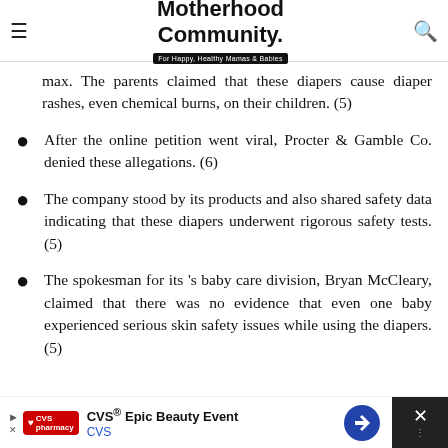Motherhood Community. For Happy, Healthy Mamas & Babies
max. The parents claimed that these diapers cause diaper rashes, even chemical burns, on their children. (5)
After the online petition went viral, Procter & Gamble Co. denied these allegations. (6)
The company stood by its products and also shared safety data indicating that these diapers underwent rigorous safety tests. (5)
The spokesman for its 's baby care division, Bryan McCleary, claimed that there was no evidence that even one baby experienced serious skin safety issues while using the diapers. (5)
[Figure (other): CVS Epic Beauty Event advertisement banner at the bottom of the page]